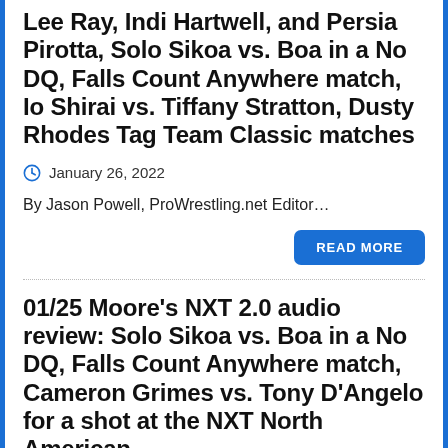Lee Ray, Indi Hartwell, and Persia Pirotta, Solo Sikoa vs. Boa in a No DQ, Falls Count Anywhere match, Io Shirai vs. Tiffany Stratton, Dusty Rhodes Tag Team Classic matches
January 26, 2022
By Jason Powell, ProWrestling.net Editor...
READ MORE
01/25 Moore’s NXT 2.0 audio review: Solo Sikoa vs. Boa in a No DQ, Falls Count Anywhere match, Cameron Grimes vs. Tony D’Angelo for a shot at the NXT North American